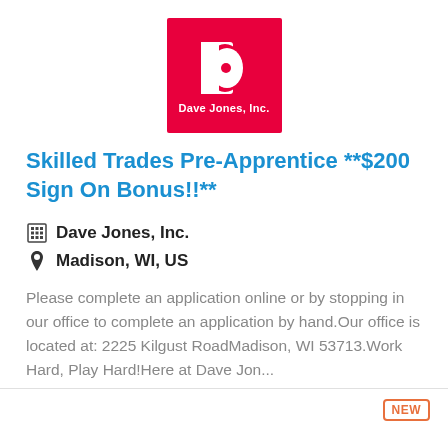[Figure (logo): Dave Jones, Inc. logo — red square background with white letter D and text 'Dave Jones, Inc.']
Skilled Trades Pre-Apprentice **$200 Sign On Bonus!!**
Dave Jones, Inc.
Madison, WI, US
Please complete an application online or by stopping in our office to complete an application by hand.Our office is located at: 2225 Kilgust RoadMadison, WI 53713.Work Hard, Play Hard!Here at Dave Jon...
More Details
NEW